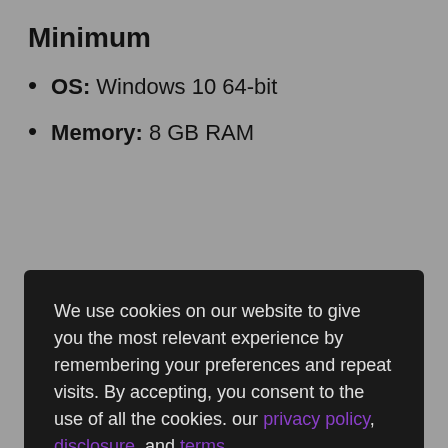Minimum
OS: Windows 10 64-bit
Memory: 8 GB RAM
We use cookies on our website to give you the most relevant experience by remembering your preferences and repeat visits. By accepting, you consent to the use of all the cookies. our privacy policy, disclosure, and terms.
Memory: 16 GB RAM
Graphics: GTX 1070 Ti / RX 5600 XT
Run a Clean Boot